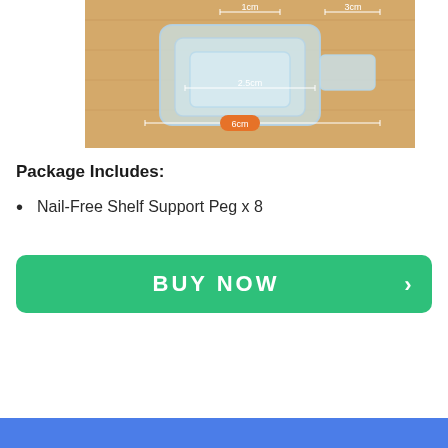[Figure (photo): Product photo of a clear transparent nail-free shelf support peg mounted on a wooden surface, with measurement annotations showing dimensions: 1cm, 3cm, 2.5cm, 6cm]
Package Includes:
Nail-Free Shelf Support Peg x 8
[Figure (other): Green BUY NOW button with right-pointing chevron arrow on the right side]